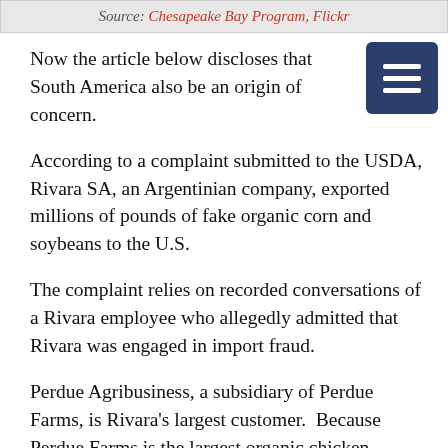Source: Chesapeake Bay Program, Flickr
Now the article below discloses that South America also be an origin of concern.
According to a complaint submitted to the USDA, Rivara SA, an Argentinian company, exported millions of pounds of fake organic corn and soybeans to the U.S.
The complaint relies on recorded conversations of a Rivara employee who allegedly admitted that Rivara was engaged in import fraud.
Perdue Agribusiness, a subsidiary of Perdue Farms, is Rivara's largest customer.  Because Perdue Farms is the largest organic chicken producer in the U.S., the allegations raise serious concerns about the integrity of much of the U.S.'s organic chicken supply.
The article also notes that Tiryaki, the largest supplier of organic grain into the U.S., is transitioning to a new certifier